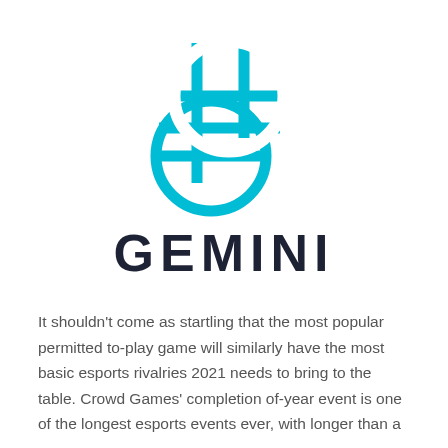[Figure (logo): Gemini cryptocurrency exchange logo: two overlapping circles with horizontal and vertical lines creating a grid/globe effect, rendered in cyan/turquoise color]
GEMINI
It shouldn't come as startling that the most popular permitted to-play game will similarly have the most basic esports rivalries 2021 needs to bring to the table. Crowd Games' completion of-year event is one of the longest esports events ever, with longer than a